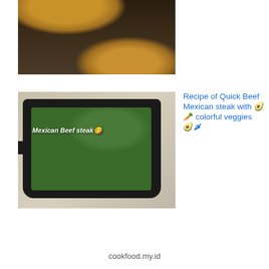[Figure (photo): Photo of two round flatbreads/pita breads on a dark rack, viewed from above in low light]
[Figure (photo): Mexican Beef steak served in a black square pan with fries, rice, green peas, and white sauce, with emoji and text overlay 'Mexican Beef steak']
Recipe of Quick Beef Mexican steak with 🥑🥕 colorful veggies 🥑🌶
cookfood.my.id